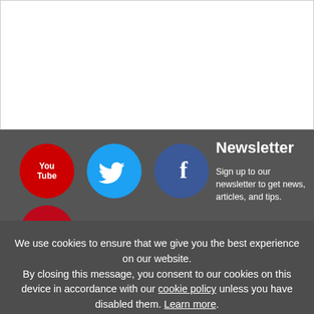[Figure (screenshot): Top white section with border, partial page content area]
[Figure (logo): YouTube logo icon - red circle with white YouTube text]
[Figure (logo): Twitter logo icon - blue circle with white bird]
[Figure (logo): Facebook logo icon - dark blue circle with white f]
[Figure (logo): Pinterest logo icon - red circle with white P]
Newsletter
Sign up to our newsletter to get news, articles, and tips.
We use cookies to ensure that we give you the best experience on our website. By closing this message, you consent to our cookies on this device in accordance with our cookie policy unless you have disabled them. Learn more.
I Agree!